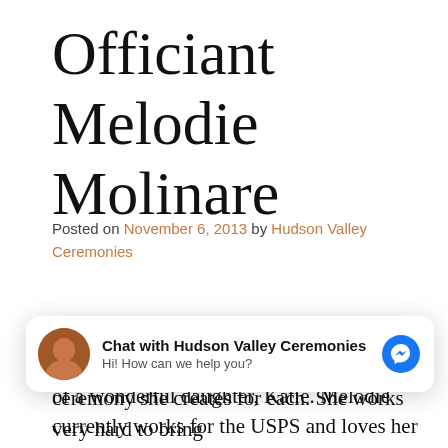Officiant Melodie Molinare
Posted on November 6, 2013 by Hudson Valley Ceremonies
Rev. Melodie was born, raised and still resides in Rhinebeck NY. She is the mother of a wonderful daughter, Katie. Melodie currently works for the USPS and loves her job because she is able to meet all kinds of people. Born and raised a
time she is open to all couples and the ceremony she creates for each. She works very hard to bring
[Figure (other): Chat widget overlay: 'Chat with Hudson Valley Ceremonies' with avatar photo, subtitle 'Hi! How can we help you?' and Facebook Messenger icon button]